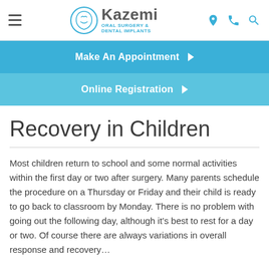Kazemi Oral Surgery & Dental Implants
Make An Appointment
Online Registration
Recovery in Children
Most children return to school and some normal activities within the first day or two after surgery. Many parents schedule the procedure on a Thursday or Friday and their child is ready to go back to classroom by Monday. There is no problem with going out the following day, although it's best to rest for a day or two. Of course there are always variations in overall response and recovery...